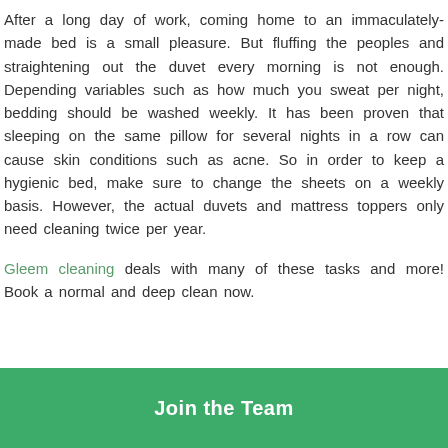After a long day of work, coming home to an immaculately-made bed is a small pleasure. But fluffing the peoples and straightening out the duvet every morning is not enough. Depending variables such as how much you sweat per night, bedding should be washed weekly. It has been proven that sleeping on the same pillow for several nights in a row can cause skin conditions such as acne. So in order to keep a hygienic bed, make sure to change the sheets on a weekly basis. However, the actual duvets and mattress toppers only need cleaning twice per year.
Gleem cleaning deals with many of these tasks and more! Book a normal and deep clean now.
Join the Team